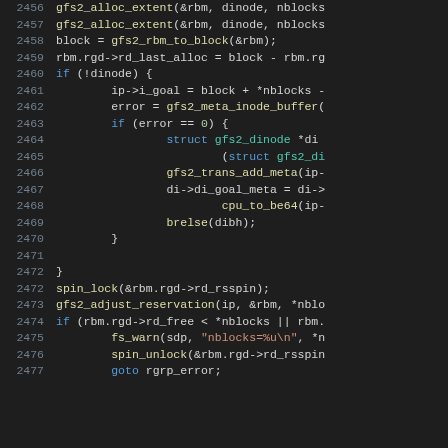[Figure (screenshot): Source code listing in a dark-themed code editor showing C kernel code lines 2456-2477, with syntax highlighting in yellow, blue, green, and white on a dark background.]